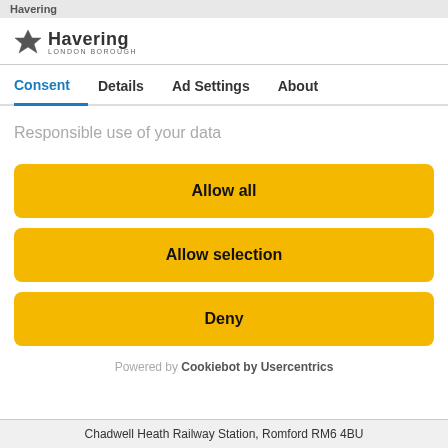Havering London Borough
Consent | Details | Ad Settings | About
Responsible use of your data
Allow all
Allow selection
Deny
Powered by Cookiebot by Usercentrics
Chadwell Heath Railway Station, Romford RM6 4BU